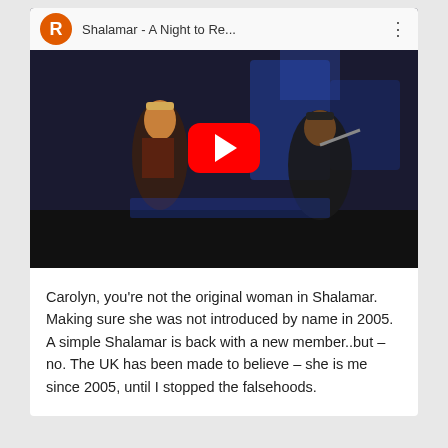[Figure (screenshot): YouTube video thumbnail showing Shalamar - A Night to Re... with performer on stage, red YouTube play button overlay, and channel avatar R in orange circle]
Carolyn, you're not the original woman in Shalamar. Making sure she was not introduced by name in 2005. A simple Shalamar is back with a new member..but – no. The UK has been made to believe – she is me since 2005, until I stopped the falsehoods.